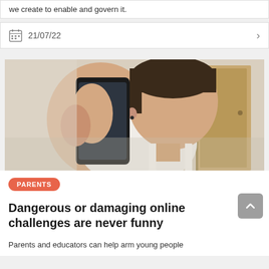we create to enable and govern it.
21/07/22
[Figure (photo): Young teenage male in white tank top holding and looking at a smartphone, with a door visible in the background.]
PARENTS
Dangerous or damaging online challenges are never funny
Parents and educators can help arm young people